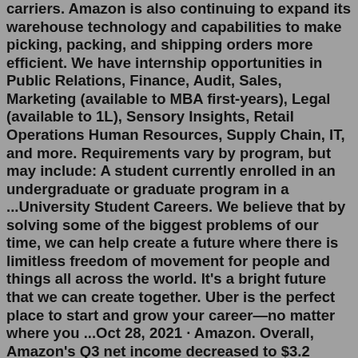carriers. Amazon is also continuing to expand its warehouse technology and capabilities to make picking, packing, and shipping orders more efficient. We have internship opportunities in Public Relations, Finance, Audit, Sales, Marketing (available to MBA first-years), Legal (available to 1L), Sensory Insights, Retail Operations Human Resources, Supply Chain, IT, and more. Requirements vary by program, but may include: A student currently enrolled in an undergraduate or graduate program in a ...University Student Careers. We believe that by solving some of the biggest problems of our time, we can help create a future where there is limitless freedom of movement for people and things all across the world. It's a bright future that we can create together. Uber is the perfect place to start and grow your career—no matter where you ...Oct 28, 2021 · Amazon. Overall, Amazon's Q3 net income decreased to $3.2 billion in the third quarter, or $6.12 per diluted share, compared with $6.3 billion, or $12.37 per diluted share, in third quarter 2020. Today's top 25,000+